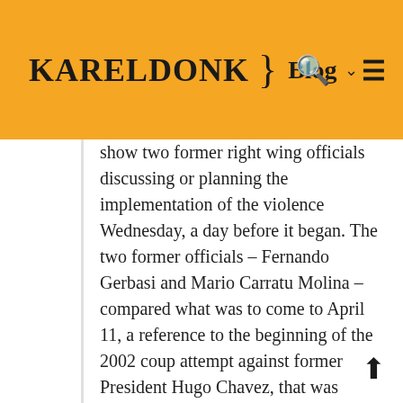KarelDonk } Blog
show two former right wing officials discussing or planning the implementation of the violence Wednesday, a day before it began. The two former officials – Fernando Gerbasi and Mario Carratu Molina – compared what was to come to April 11, a reference to the beginning of the 2002 coup attempt against former President Hugo Chavez, that was ultimately defeated by a massive popular uprising in defense of the